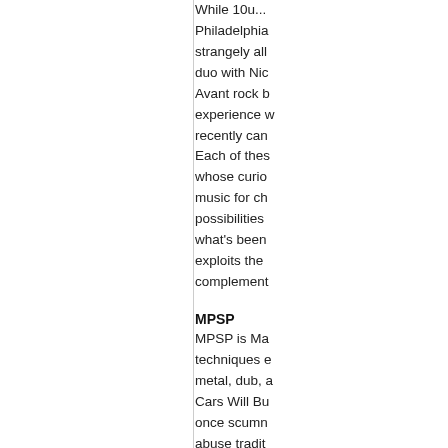While 10u... Philadelphia strangely all duo with Nic Avant rock b experience w recently can Each of thes whose curio music for ch possibilities what's been exploits the complement
MPSP
MPSP is Ma techniques e metal, dub, a Cars Will Bu once scumn abuse tradit the core of h the Rain of I controlled, t
Wednesday